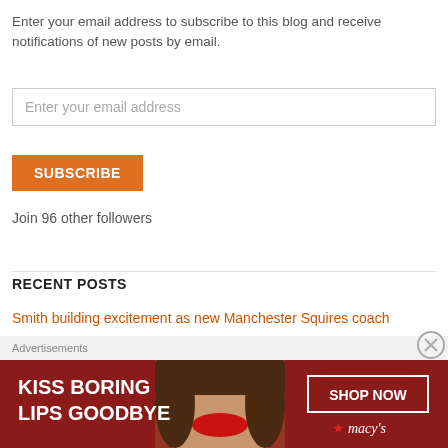Enter your email address to subscribe to this blog and receive notifications of new posts by email.
Enter your email address
SUBSCRIBE
Join 96 other followers
RECENT POSTS
Smith building excitement as new Manchester Squires coach
Walther lends his experience to Pro X Athlete Development, College Summer League
Advertisements
[Figure (photo): Macy's advertisement banner: KISS BORING LIPS GOODBYE with SHOP NOW button and Macy's logo, featuring a woman's face with red lipstick]